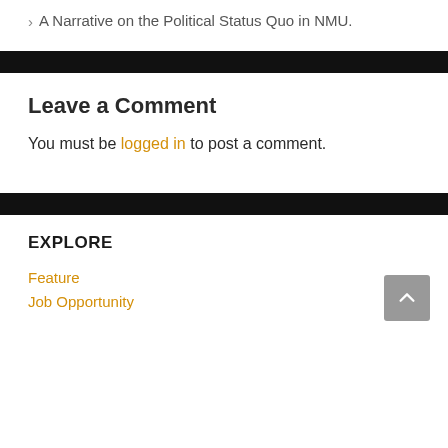> A Narrative on the Political Status Quo in NMU.
Leave a Comment
You must be logged in to post a comment.
EXPLORE
Feature
Job Opportunity